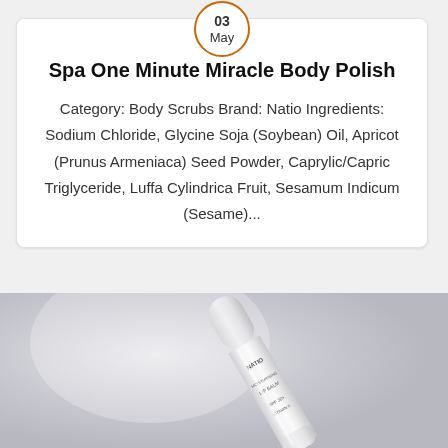[Figure (other): Date badge showing '03 May' in an orange-bordered circle]
Spa One Minute Miracle Body Polish
Category: Body Scrubs Brand: Natio Ingredients: Sodium Chloride, Glycine Soja (Soybean) Oil, Apricot (Prunus Armeniaca) Seed Powder, Caprylic/Capric Triglyceride, Luffa Cylindrica Fruit, Sesamum Indicum (Sesame)...
[Figure (photo): Photo of a white Natio Moisturising Lip Balm SPF 30+ Vitamin E tube against a grey background]